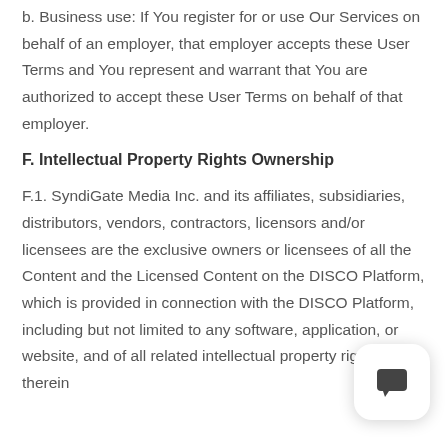b. Business use: If You register for or use Our Services on behalf of an employer, that employer accepts these User Terms and You represent and warrant that You are authorized to accept these User Terms on behalf of that employer.
F. Intellectual Property Rights Ownership
F.1. SyndiGate Media Inc. and its affiliates, subsidiaries, distributors, vendors, contractors, licensors and/or licensees are the exclusive owners or licensees of all the Content and the Licensed Content on the DISCO Platform, which is provided in connection with the DISCO Platform, including but not limited to any software, application, or website, and of all related intellectual property rights therein